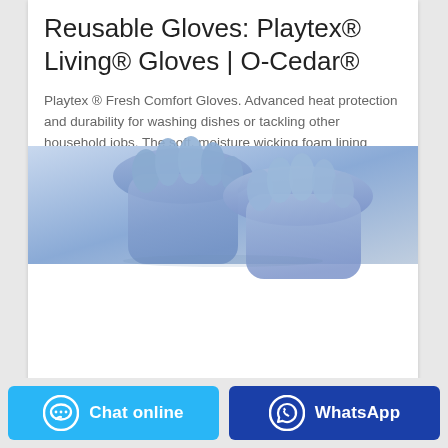[Figure (photo): Blue/purple latex gloves photographed against a light background, showing hands wearing the gloves]
Reusable Gloves: Playtex® Living® Gloves | O-Cedar®
Playtex ® Fresh Comfort Gloves. Advanced heat protection and durability for washing dishes or tackling other household jobs. The soft, moisture wicking foam lining keeps hands fresh and dry. ... Available in Blue in small, medium and large; After use, wash outside of gloves with soap and water and let air dry. Do not put in dishwasher.
Chat online | WhatsApp